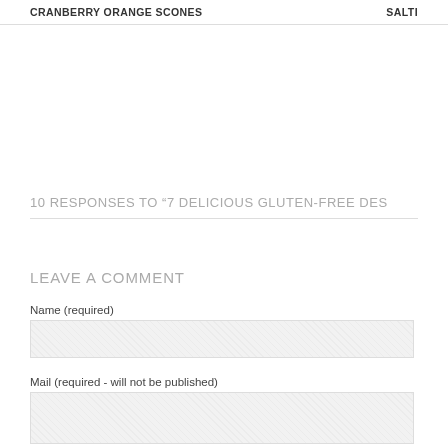CRANBERRY ORANGE SCONES     SALTI
10 RESPONSES TO “7 DELICIOUS GLUTEN-FREE DES
LEAVE A COMMENT
Name (required)
Mail (required - will not be published)